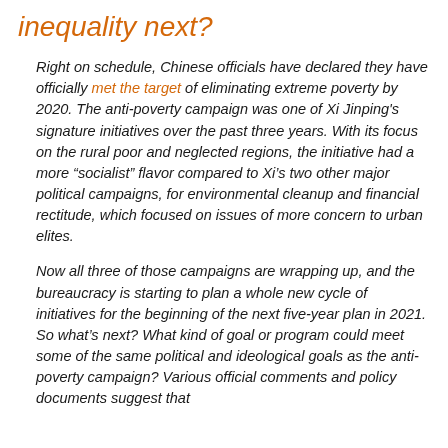inequality next?
Right on schedule, Chinese officials have declared they have officially met the target of eliminating extreme poverty by 2020. The anti-poverty campaign was one of Xi Jinping's signature initiatives over the past three years. With its focus on the rural poor and neglected regions, the initiative had a more “socialist” flavor compared to Xi's two other major political campaigns, for environmental cleanup and financial rectitude, which focused on issues of more concern to urban elites.
Now all three of those campaigns are wrapping up, and the bureaucracy is starting to plan a whole new cycle of initiatives for the beginning of the next five-year plan in 2021. So what's next? What kind of goal or program could meet some of the same political and ideological goals as the anti-poverty campaign? Various official comments and policy documents suggest that